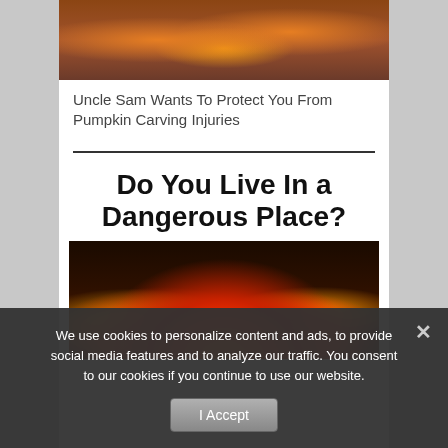[Figure (photo): Photo of people carving pumpkins with Halloween decorations]
Uncle Sam Wants To Protect You From Pumpkin Carving Injuries
Do You Live In a Dangerous Place?
[Figure (photo): Nighttime scene with fire and smoke in a city street]
We use cookies to personalize content and ads, to provide social media features and to analyze our traffic. You consent to our cookies if you continue to use our website.
I Accept